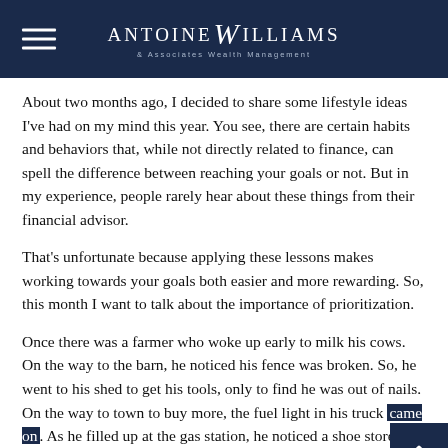ANTOINE WILLIAMS & Associates Wealth Management
About two months ago, I decided to share some lifestyle ideas I've had on my mind this year. You see, there are certain habits and behaviors that, while not directly related to finance, can spell the difference between reaching your goals or not. But in my experience, people rarely hear about these things from their financial advisor.
That's unfortunate because applying these lessons makes working towards your goals both easier and more rewarding. So, this month I want to talk about the importance of prioritization.
Once there was a farmer who woke up early to milk his cows. On the way to the barn, he noticed his fence was broken. So, he went to his shed to get his tools, only to find he was out of nails. On the way to town to buy more, the fuel light in his truck came on. As he filled up at the gas station, he noticed a shoe store across the street advertising a special on men's work boots.  As